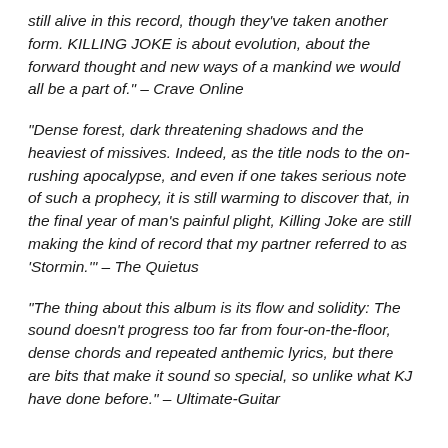still alive in this record, though they've taken another form. KILLING JOKE is about evolution, about the forward thought and new ways of a mankind we would all be a part of." – Crave Online
"Dense forest, dark threatening shadows and the heaviest of missives. Indeed, as the title nods to the on-rushing apocalypse, and even if one takes serious note of such a prophecy, it is still warming to discover that, in the final year of man's painful plight, Killing Joke are still making the kind of record that my partner referred to as 'Stormin.'" – The Quietus
"The thing about this album is its flow and solidity: The sound doesn't progress too far from four-on-the-floor, dense chords and repeated anthemic lyrics, but there are bits that make it sound so special, so unlike what KJ have done before." – Ultimate-Guitar